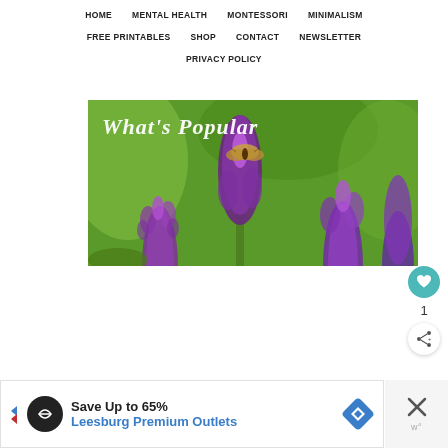HOME  MENTAL HEALTH  MONTESSORI  MINIMALISM  FREE PRINTABLES  SHOP  CONTACT  NEWSLETTER  PRIVACY POLICY
[Figure (photo): A close-up photo of purple lavender/salvia flowers with a butterfly, overlaid with text 'What's Popular' in italic white font]
1
Save Up to 65% Leesburg Premium Outlets